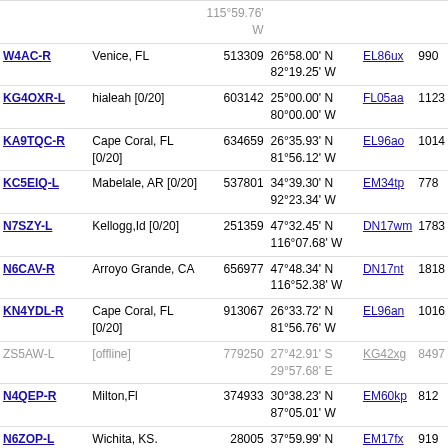| Callsign | Location | Node | Coordinates | Grid | Freq |
| --- | --- | --- | --- | --- | --- |
| W4AC-R | Venice, FL | 513309 | 26°58.00' N 82°19.25' W | EL86ux | 990 |
| KG4OXR-L | hialeah [0/20] | 603142 | 25°00.00' N 80°00.00' W | FL05aa | 1123 |
| KA9TQC-R | Cape Coral, FL [0/20] | 634659 | 26°35.93' N 81°56.12' W | EL96ao | 1014 |
| KC5EIQ-L | Mabelale, AR [0/20] | 537801 | 34°39.30' N 92°23.34' W | EM34tp | 778 |
| N7SZY-L | Kellogg,Id [0/20] | 251359 | 47°32.45' N 116°07.68' W | DN17wm | 1783 |
| N6CAV-R | Arroyo Grande, CA | 656977 | 47°48.34' N 116°52.38' W | DN17nt | 1818 |
| KN4YDL-R | Cape Coral, FL [0/20] | 913067 | 26°33.72' N 81°56.76' W | EL96an | 1016 |
| ZS5AW-L [offline] | [offline] | 779250 | 27°42.91' S 29°57.68' E | KG42xg | 8497 |
| N4QEP-R | Milton,Fl | 374933 | 30°38.23' N 87°05.01' W | EM60kp | 812 |
| N6ZOP-L | Wichita, KS. | 28005 | 37°59.99' N 97°33.92' W | EM17fx | 919 |
| W5PPB-R | Sharon, MS | 39154 | 32°41.00' N 89°52.00' W | EM52bq | 774 |
| KJ7OOB-L | Post Falls, ID [0/20] | 898005 | 47°43.08' N 116°57.12' W | DN17mr | 1822 |
| JA8TCH-L | In Conference *HOKKAIDO* | 330284 | 43°08.45' N 141°20.34' E | QN03qd | 6052 |